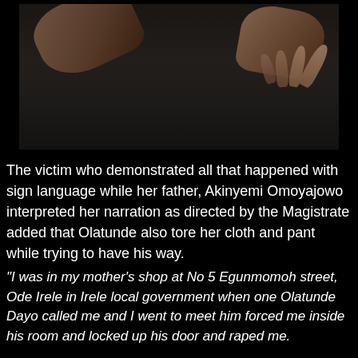[Figure (photo): Dark photograph showing two hands against a dark textured background. One hand appears at the upper left and another hand with visible fingers is at the upper right.]
The victim who demonstrated all that happened with sign language while her father, Akinyemi Omoyajowo interpreted her narration as directed by the Magistrate added that Olatunde also tore her cloth and pant while trying to have his way.
“I was in my mother’s shop at No 5 Egunmomoh street, Ode Irele in Irele local government when one Olatunde Dayo called me and I went to meet him forced me inside his room and locked up his door and raped me.